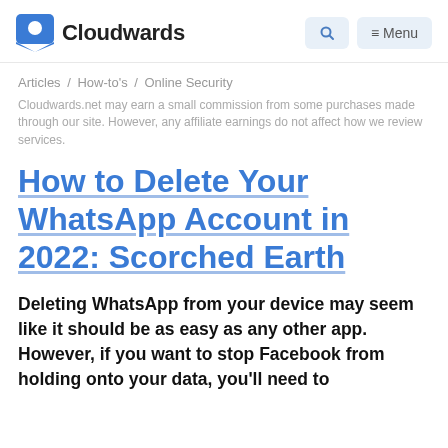Cloudwards
Articles / How-to's / Online Security
Cloudwards.net may earn a small commission from some purchases made through our site. However, any affiliate earnings do not affect how we review services.
How to Delete Your WhatsApp Account in 2022: Scorched Earth
Deleting WhatsApp from your device may seem like it should be as easy as any other app. However, if you want to stop Facebook from holding onto your data, you'll need to